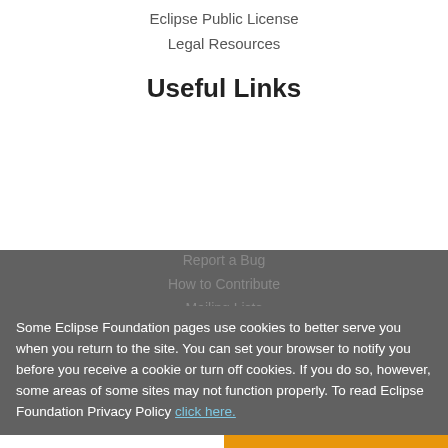Eclipse Public License
Legal Resources
Useful Links
Report a Bug
How to Contribute
Mailing Lists
Marketplace
Other
IDE and Tools
Community of Projects
Working Groups
Some Eclipse Foundation pages use cookies to better serve you when you return to the site. You can set your browser to notify you before you receive a cookie or turn off cookies. If you do so, however, some areas of some sites may not function properly. To read Eclipse Foundation Privacy Policy click here.